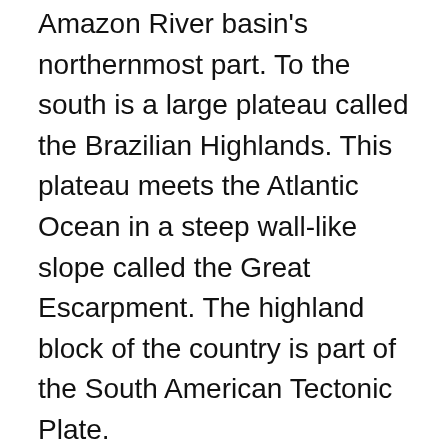Amazon River basin's northernmost part. To the south is a large plateau called the Brazilian Highlands. This plateau meets the Atlantic Ocean in a steep wall-like slope called the Great Escarpment. The highland block of the country is part of the South American Tectonic Plate.
Brazil's eastern seaboard borders the Atlantic Ocean, with a continental shelf that extends some 370 kilometers (200 nautical miles). The waters of the continental shelf are extremely shallow. Reefs and sandbars dot the shoreline.
Did you know about Brazil?